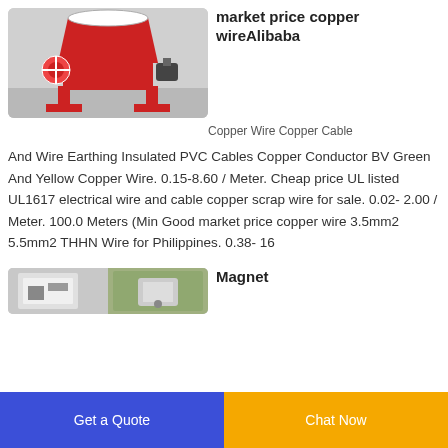[Figure (photo): Red industrial copper wire granulator/shredder machine on gray floor]
market price copper wireAlibaba
Copper Wire Copper Cable
And Wire Earthing Insulated PVC Cables Copper Conductor BV Green And Yellow Copper Wire. 0.15-8.60 / Meter. Cheap price UL listed UL1617 electrical wire and cable copper scrap wire for sale. 0.02- 2.00 / Meter. 100.0 Meters (Min Good market price copper wire 3.5mm2 5.5mm2 THHN Wire for Philippines. 0.38- 16
[Figure (photo): Two photos of industrial machinery/equipment, partially visible]
Magnet
Get a Quote   Chat Now